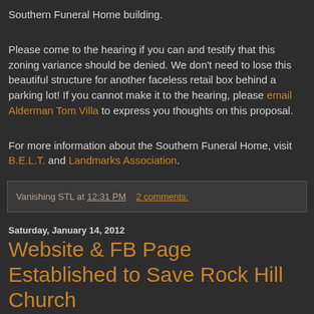Southern Funeral Home building.
Please come to the hearing if you can and testify that this zoning variance should be denied. We don't need to lose this beautiful structure for another faceless retail box behind a parking lot! If you cannot make it to the hearing, please email Alderman Tom Villa to express you thoughts on this proposal.
For more information about the Southern Funeral Home, visit B.E.L.T. and Landmarks Association.
Vanishing STL at 12:31 PM    2 comments:
Saturday, January 14, 2012
Website & FB Page Established to Save Rock Hill Church